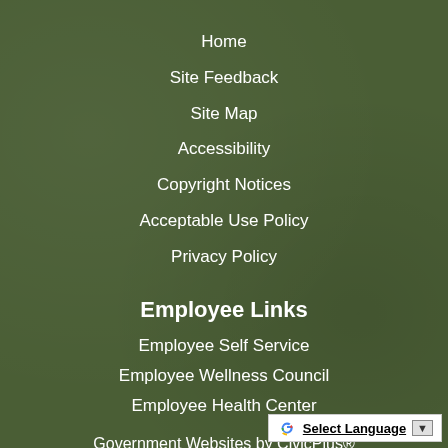Home
Site Feedback
Site Map
Accessibility
Copyright Notices
Acceptable Use Policy
Privacy Policy
Employee Links
Employee Self Service
Employee Wellness Council
Employee Health Center
Government Websites by CivicPlus®
Select Language